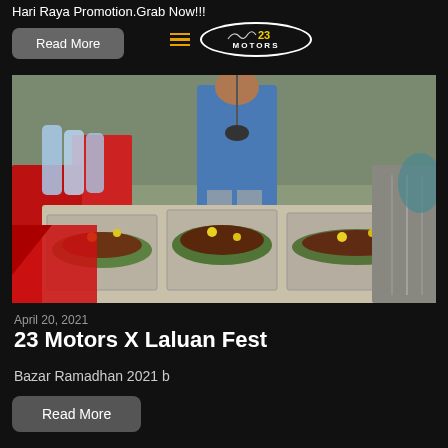Hari Raya Promotion.Grab Now!!!
[Figure (logo): 23 Motors logo in an oval border with yellow '23' and white 'MOTORS' text, with a car silhouette above]
Read More
[Figure (photo): Food stall with multiple metal trays containing grilled fish/meat served on banana leaves with yellow garnishes, water bottles in background, people serving food]
April 20, 2021
23 Motors X Laluan Fest
Bazar Ramadhan 2021 b
Read More